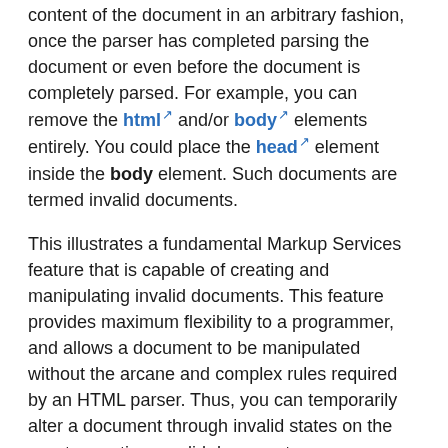content of the document in an arbitrary fashion, once the parser has completed parsing the document or even before the document is completely parsed. For example, you can remove the html and/or body elements entirely. You could place the head element inside the body element. Such documents are termed invalid documents.
This illustrates a fundamental Markup Services feature that is capable of creating and manipulating invalid documents. This feature provides maximum flexibility to a programmer, and allows a document to be manipulated without the arcane and complex rules required by an HTML parser. Thus, you can temporarily alter a document through invalid states on the way to creating a valid document.
IMarkupServices
Having understood the fundamental concepts of Markup Services, you are now ready to learn about Markup...